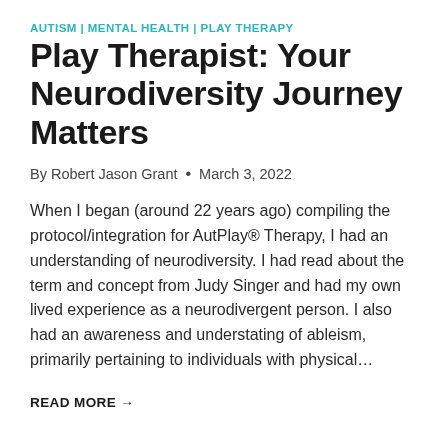AUTISM | MENTAL HEALTH | PLAY THERAPY
Play Therapist: Your Neurodiversity Journey Matters
By Robert Jason Grant  •  March 3, 2022
When I began (around 22 years ago) compiling the protocol/integration for AutPlay® Therapy, I had an understanding of neurodiversity. I had read about the term and concept from Judy Singer and had my own lived experience as a neurodivergent person. I also had an awareness and understating of ableism, primarily pertaining to individuals with physical…
READ MORE →